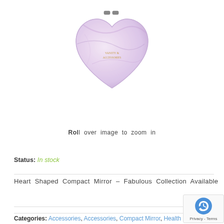[Figure (photo): Heart-shaped compact mirror with pink/lavender marble pattern and two small silver hinges at the top.]
Roll over image to zoom in
Status: In stock
Heart Shaped Compact Mirror – Fabulous Collection Available
Categories: Accessories, Accessories, Compact Mirror, Health and Beauty Care,